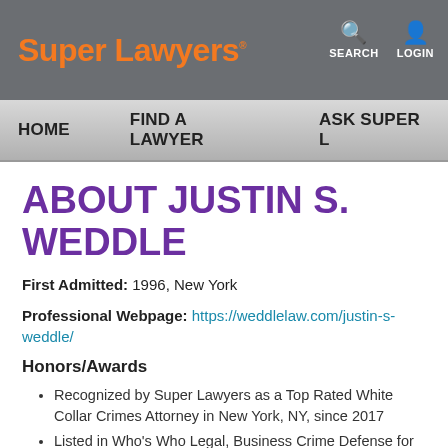Super Lawyers · SEARCH · LOGIN
HOME    FIND A LAWYER    ASK SUPER L
ABOUT JUSTIN S. WEDDLE
First Admitted: 1996, New York
Professional Webpage: https://weddlelaw.com/justin-s-weddle/
Honors/Awards
Recognized by Super Lawyers as a Top Rated White Collar Crimes Attorney in New York, NY, since 2017
Listed in Who's Who Legal, Business Crime Defense for both Corporates and Individuals